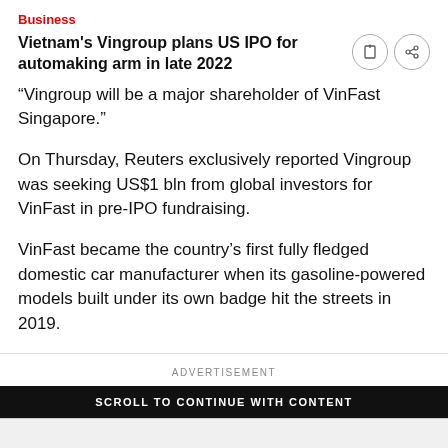Business
Vietnam's Vingroup plans US IPO for automaking arm in late 2022
"Vingroup will be a major shareholder of VinFast Singapore."
On Thursday, Reuters exclusively reported Vingroup was seeking US$1 bln from global investors for VinFast in pre-IPO fundraising.
VinFast became the country's first fully fledged domestic car manufacturer when its gasoline-powered models built under its own badge hit the streets in 2019.
ADVERTISEMENT
SCROLL TO CONTINUE WITH CONTENT